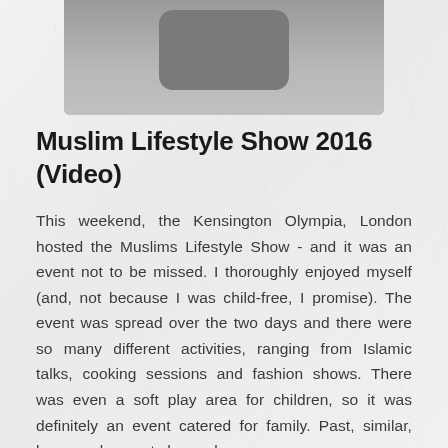[Figure (photo): A partially visible photograph or image at the top of the page showing what appears to be a mobile phone or device shape in gray tones]
Muslim Lifestyle Show 2016 (Video)
This weekend, the Kensington Olympia, London hosted the Muslims Lifestyle Show - and it was an event not to be missed. I thoroughly enjoyed myself (and, not because I was child-free, I promise). The event was spread over the two days and there were so many different activities, ranging from Islamic talks, cooking sessions and fashion shows. There was even a soft play area for children, so it was definitely an event catered for family. Past, similar, large scale events have al